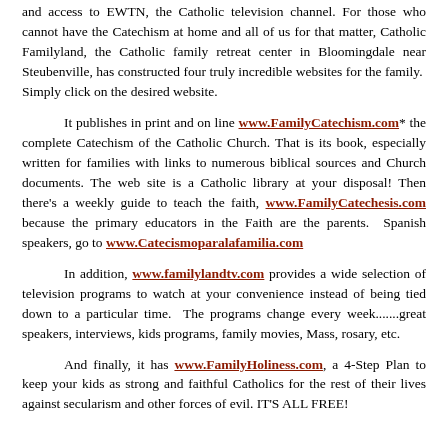and access to EWTN, the Catholic television channel. For those who cannot have the Catechism at home and all of us for that matter, Catholic Familyland, the Catholic family retreat center in Bloomingdale near Steubenville, has constructed four truly incredible websites for the family.  Simply click on the desired website.
It publishes in print and on line www.FamilyCatechism.com* the complete Catechism of the Catholic Church. That is its book, especially written for families with links to numerous biblical sources and Church documents. The web site is a Catholic library at your disposal! Then there's a weekly guide to teach the faith, www.FamilyCatechesis.com because the primary educators in the Faith are the parents.  Spanish speakers, go to www.Catecismoparalafamilia.com
In addition, www.familylandtv.com provides a wide selection of television programs to watch at your convenience instead of being tied down to a particular time. The programs change every week.......great speakers, interviews, kids programs, family movies, Mass, rosary, etc.
And finally, it has www.FamilyHoliness.com, a 4-Step Plan to keep your kids as strong and faithful Catholics for the rest of their lives against secularism and other forces of evil. IT'S ALL FREE!